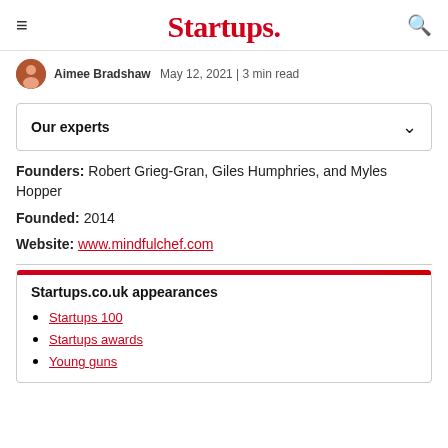Startups.
Aimee Bradshaw  May 12, 2021 | 3 min read
Our experts
Founders: Robert Grieg-Gran, Giles Humphries, and Myles Hopper
Founded: 2014
Website: www.mindfulchef.com
Startups.co.uk appearances
Startups 100
Startups awards
Young guns